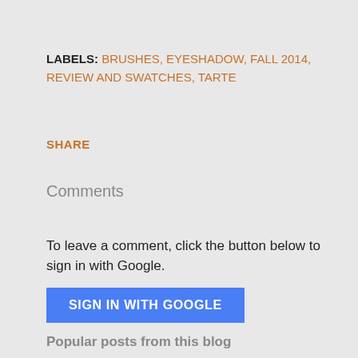LABELS: BRUSHES, EYESHADOW, FALL 2014, REVIEW AND SWATCHES, TARTE
SHARE
Comments
To leave a comment, click the button below to sign in with Google.
SIGN IN WITH GOOGLE
Popular posts from this blog